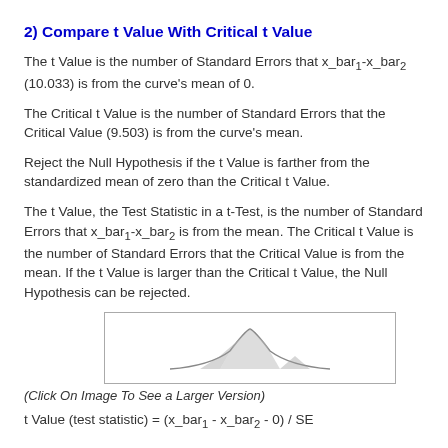2) Compare t Value With Critical t Value
The t Value is the number of Standard Errors that x_bar1-x_bar2 (10.033) is from the curve's mean of 0.
The Critical t Value is the number of Standard Errors that the Critical Value (9.503) is from the curve's mean.
Reject the Null Hypothesis if the t Value is farther from the standardized mean of zero than the Critical t Value.
The t Value, the Test Statistic in a t-Test, is the number of Standard Errors that x_bar1-x_bar2 is from the mean. The Critical t Value is the number of Standard Errors that the Critical Value is from the mean. If the t Value is larger than the Critical t Value, the Null Hypothesis can be rejected.
[Figure (illustration): Small illustration of a bell curve / distribution graph thumbnail]
(Click On Image To See a Larger Version)